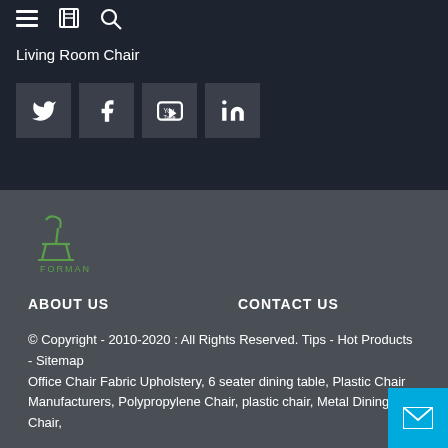Living Room Chair
[Figure (logo): Social media icons: Twitter, Facebook, YouTube, LinkedIn]
[Figure (logo): Forman brand logo with stylized chair icon and FORMAN text in green]
ABOUT US
CONTACT US
© Copyright - 2010-2020 : All Rights Reserved. Tips - Hot Products - Sitemap
Office Chair Fabric Upholstery, 6 seater dining table, Plastic Chair Manufacturers, Polypropylene Chair, plastic chair, Metal Dining Chair,